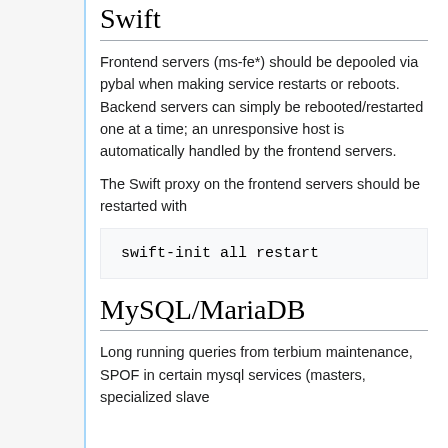Swift
Frontend servers (ms-fe*) should be depooled via pybal when making service restarts or reboots. Backend servers can simply be rebooted/restarted one at a time; an unresponsive host is automatically handled by the frontend servers.
The Swift proxy on the frontend servers should be restarted with
MySQL/MariaDB
Long running queries from terbium maintenance, SPOF in certain mysql services (masters, specialized slave